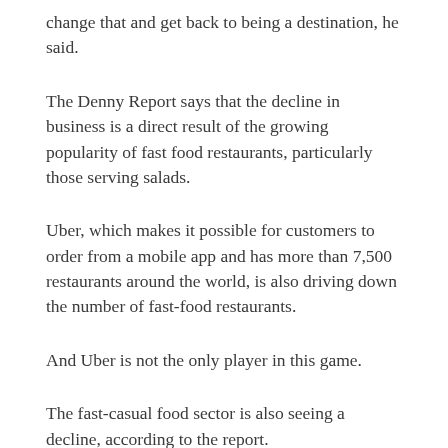change that and get back to being a destination, he said.
The Denny Report says that the decline in business is a direct result of the growing popularity of fast food restaurants, particularly those serving salads.
Uber, which makes it possible for customers to order from a mobile app and has more than 7,500 restaurants around the world, is also driving down the number of fast-food restaurants.
And Uber is not the only player in this game.
The fast-casual food sector is also seeing a decline, according to the report.
The number of restaurant-owned restaurants in the U.S. has fallen from about 5.7 million in 2015 to 4.9 million in 2019.